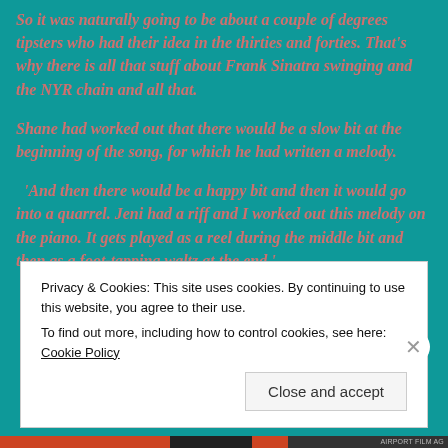So it was naturally going to be about a couple of degrees tipsters who had their idea in the thirties and forties. That's why there is all that stuff about Frank Sinatra swinging and the NYR chain and all that.
Shane had worked out that there would be a slow bit at the beginning of the song, for which he had written a melody.
"And then there would be a happy bit and then it would go into a quarrel. Jeni had a riff and I worked out this melody on the piano. It gets played as a reel during the middle bit and then as a foot-tapping waltz at the end."
Privacy & Cookies: This site uses cookies. By continuing to use this website, you agree to their use.
To find out more, including how to control cookies, see here: Cookie Policy